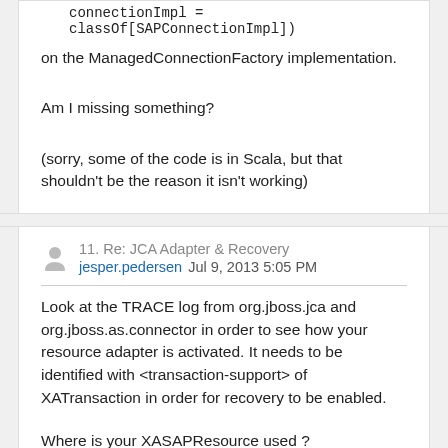connectionImpl = classOf[SAPConnectionImpl]
on the ManagedConnectionFactory implementation.
Am I missing something?
(sorry, some of the code is in Scala, but that shouldn't be the reason it isn't working)
11. Re: JCA Adapter & Recovery
jesper.pedersen  Jul 9, 2013 5:05 PM
Look at the TRACE log from org.jboss.jca and org.jboss.as.connector in order to see how your resource adapter is activated. It needs to be identified with <transaction-support> of XATransaction in order for recovery to be enabled.
Where is your XASAPResource used ?